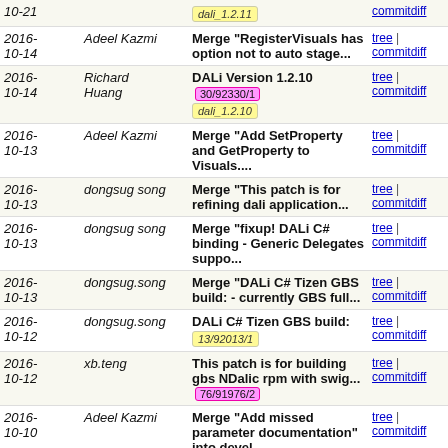| Date | Author | Commit Message | Links |
| --- | --- | --- | --- |
| 2016-10-21 |  | dali_1.2.11 [tag] | tree | commitdiff |
| 2016-10-14 | Adeel Kazmi | Merge "RegisterVisuals has option not to auto stage... | tree | commitdiff |
| 2016-10-14 | Richard Huang | DALi Version 1.2.10  30/92330/1  dali_1.2.10 | tree | commitdiff |
| 2016-10-13 | Adeel Kazmi | Merge "Add SetProperty and GetProperty to Visuals.... | tree | commitdiff |
| 2016-10-13 | dongsug song | Merge "This patch is for refining dali application... | tree | commitdiff |
| 2016-10-13 | dongsug song | Merge "fixup! DALi C# binding - Generic Delegates suppo... | tree | commitdiff |
| 2016-10-13 | dongsug.song | Merge "DALi C# Tizen GBS build: - currently GBS full... | tree | commitdiff |
| 2016-10-12 | dongsug.song | DALi C# Tizen GBS build:  13/92013/1 | tree | commitdiff |
| 2016-10-12 | xb.teng | This patch is for building gbs NDalic rpm with swig...  76/91976/2 | tree | commitdiff |
| 2016-10-10 | Adeel Kazmi | Merge "Add missed parameter documentation" into devel... | tree | commitdiff |
| 2016-10-07 | Adeel Kazmi | Merge "DALi Version 1.2.9" into devel/master | tree | commitdiff |
| 2016-10-07 | Ferran Sole | DALi Version 1.2.9  57/91457/1  dali_1.2.9 | tree | commitdiff |
| 2016-09-30 | adam.b | DALi Version 1.2.8  79/90579/1  dali_1.2.8 | tree | commitdiff |
| 2016- | David Steele | Merge "Deprecate the public APIs | tree | commitdiff |